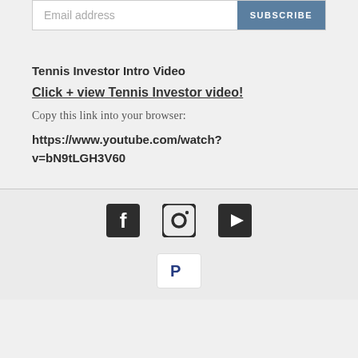[Figure (screenshot): Email subscription bar with input field placeholder 'Email address' and a blue SUBSCRIBE button]
Tennis Investor Intro Video
Click + view Tennis Investor video!
Copy this link into your browser:
https://www.youtube.com/watch?v=bN9tLGH3V60
[Figure (infographic): Social media icons: Facebook, Instagram, YouTube]
[Figure (logo): PayPal payment badge]